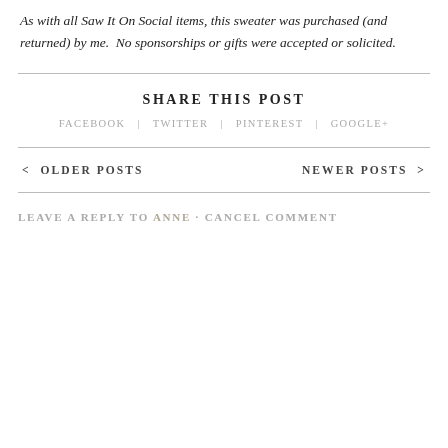As with all Saw It On Social items, this sweater was purchased (and returned) by me.  No sponsorships or gifts were accepted or solicited.
SHARE THIS POST
FACEBOOK  |  TWITTER  |  PINTEREST  |  GOOGLE+
< OLDER POSTS
NEWER POSTS >
LEAVE A REPLY TO ANNE · CANCEL COMMENT